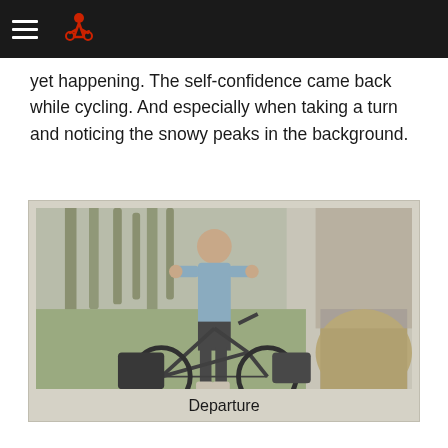yet happening. The self-confidence came back while cycling. And especially when taking a turn and noticing the snowy peaks in the background.
[Figure (photo): A man standing with a fully loaded touring bicycle in a park-like outdoor setting with trees and grass. He is wearing a light blue long-sleeve shirt and dark shorts. The bicycle has panniers and bags attached to it. A large haystack is visible on the right side.]
Departure